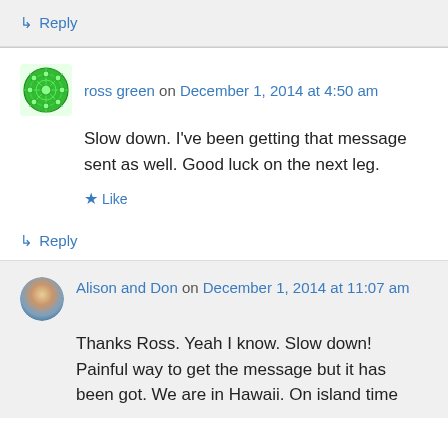↳ Reply
ross green on December 1, 2014 at 4:50 am
Slow down. I've been getting that message sent as well. Good luck on the next leg.
★ Like
↳ Reply
Alison and Don on December 1, 2014 at 11:07 am
Thanks Ross. Yeah I know. Slow down! Painful way to get the message but it has been got. We are in Hawaii. On island time